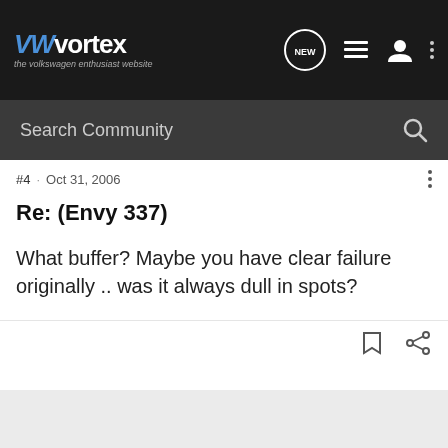VWvortex — the volkswagen enthusiast website
Search Community
#4 · Oct 31, 2006
Re: (Envy 337)
What buffer? Maybe you have clear failure originally .. was it always dull in spots?